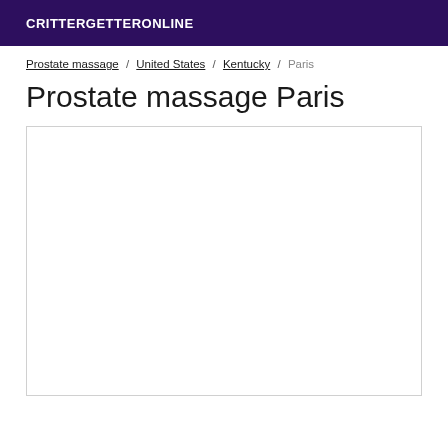CRITTERGETTERONLINE
Prostate massage / United States / Kentucky / Paris
Prostate massage Paris
[Figure (other): Map placeholder box showing a white bordered rectangle representing a map area for Paris, Kentucky.]